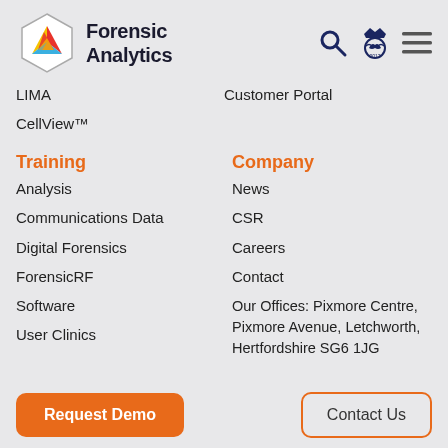[Figure (logo): Forensic Analytics logo with hexagon shape containing colorful arrow/triangle shapes, and bold text 'Forensic Analytics' beside it. Header icons include a search magnifying glass, a royal warrant/bird emblem, and a hamburger menu icon.]
LIMA
CellView™
Customer Portal
Training
Company
Analysis
News
Communications Data
CSR
Digital Forensics
Careers
ForensicRF
Contact
Software
Our Offices: Pixmore Centre, Pixmore Avenue, Letchworth, Hertfordshire SG6 1JG
User Clinics